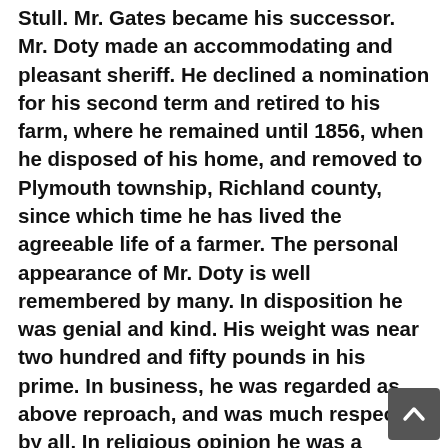Stull. Mr. Gates became his successor. Mr. Doty made an accommodating and pleasant sheriff. He declined a nomination for his second term and retired to his farm, where he remained until 1856, when he disposed of his home, and removed to Plymouth township, Richland county, since which time he has lived the agreeable life of a farmer. The personal appearance of Mr. Doty is well remembered by many. In disposition he was genial and kind. His weight was near two hundred and fifty pounds in his prime. In business, he was regarded as above reproach, and was much respected by all. In religious opinion he was a Presbyterian in sentiment and practice. He was one of the useful and solid pioneers , and will long be remembered by his old neighbors. He was the father of ten children, seven sons and three daughters, eight of whom (five sons and three daughters) survive him. The pioneers of Ashland county sincerely condole with his numerous relatives, in the loss of so valuable a friend and